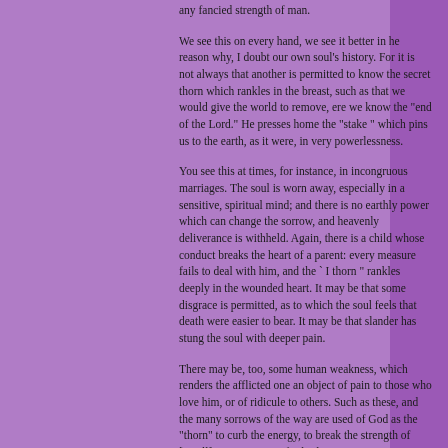any fancied strength of man.
We see this on every hand, we see it better in he reason why, I doubt our own soul's history. For it is not always that another is permitted to know the secret thorn which rankles in the breast, such as that we would give the world to remove, ere we know the "end of the Lord." He presses home the "stake " which pins us to the earth, as it were, in very powerlessness.
You see this at times, for instance, in incongruous marriages. The soul is worn away, especially in a sensitive, spiritual mind; and there is no earthly power which can change the sorrow, and heavenly deliverance is withheld. Again, there is a child whose conduct breaks the heart of a parent: every measure fails to deal with him, and the ` I thorn " rankles deeply in the wounded heart. It may be that some disgrace is permitted, as to which the soul feels that death were easier to bear. It may be that slander has stung the soul with deeper pain.
There may be, too, some human weakness, which renders the afflicted one an object of pain to those who love him, or of ridicule to others. Such as these, and the many sorrows of the way are used of God as the "thorn" to curb the energy, to break the strength of [scroll] Since nt, some find salvation